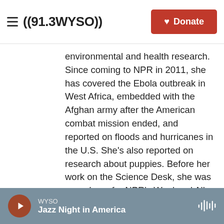((91.3 WYSO)) | Donate
environmental and health research. Since coming to NPR in 2011, she has covered the Ebola outbreak in West Africa, embedded with the Afghan army after the American combat mission ended, and reported on floods and hurricanes in the U.S. She's also reported on research about puppies. Before her work on the Science Desk, she was a producer for NPR's Weekend All Things Considered in Los Angeles.
See stories by Rebecca Hersher
WYSO | Jazz Night in America